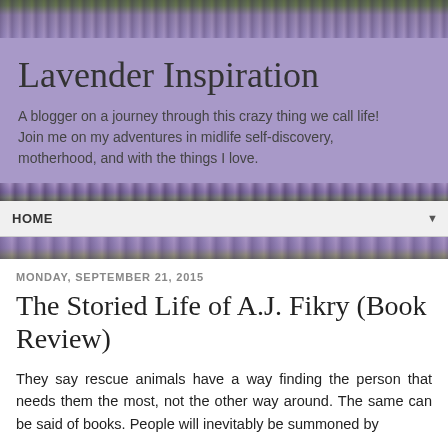[Figure (photo): Lavender field photo strip at the top of the blog header]
Lavender Inspiration
A blogger on a journey through this crazy thing we call life! Join me on my adventures in midlife self-discovery, motherhood, and with the things I love.
[Figure (photo): Lavender field photo strip at the bottom of the blog header]
HOME
[Figure (photo): Lavender field photo strip below nav bar]
MONDAY, SEPTEMBER 21, 2015
The Storied Life of A.J. Fikry (Book Review)
They say rescue animals have a way finding the person that needs them the most, not the other way around. The same can be said of books. People will inevitably be summoned by